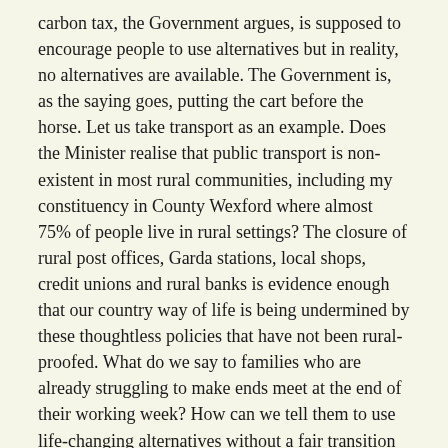carbon tax, the Government argues, is supposed to encourage people to use alternatives but in reality, no alternatives are available. The Government is, as the saying goes, putting the cart before the horse. Let us take transport as an example. Does the Minister realise that public transport is non-existent in most rural communities, including my constituency in County Wexford where almost 75% of people live in rural settings? The closure of rural post offices, Garda stations, local shops, credit unions and rural banks is evidence enough that our country way of life is being undermined by these thoughtless policies that have not been rural-proofed. What do we say to families who are already struggling to make ends meet at the end of their working week? How can we tell them to use life-changing alternatives without a fair transition or supporting plan? On top of that, purchasing an electric vehicle is dearer than a monthly rent or mortgage repayment. It is way out of reach of most ordinary families, particularly in Wexford.
The climate crisis is real. The science is there. However, we must progress our climate protection measures on the principle of a just transition and transparent and rural-proofed supporting policies. We cannot leave low-income families, pensioners and vulnerable members of our communities behind. The motion before us makes a valid point about fuel allowance and fuel poverty. We in Sinn Féin have outlined several ways to tackle these issues. Take the latest turf ban fiasco. The Government should have identified those who are dependent on turf and